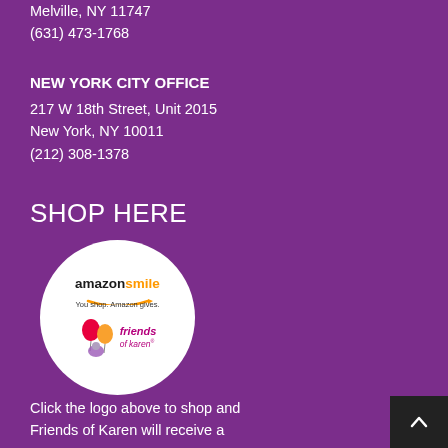Melville, NY 11747
(631) 473-1768
NEW YORK CITY OFFICE
217 W 18th Street, Unit 2015
New York, NY 10011
(212) 308-1378
SHOP HERE
[Figure (logo): Amazon Smile logo with Friends of Karen branding inside a white circle. Text reads 'amazonsmile You shop. Amazon gives.' with Friends of Karen logo and balloons.]
Click the logo above to shop and Friends of Karen will receive a